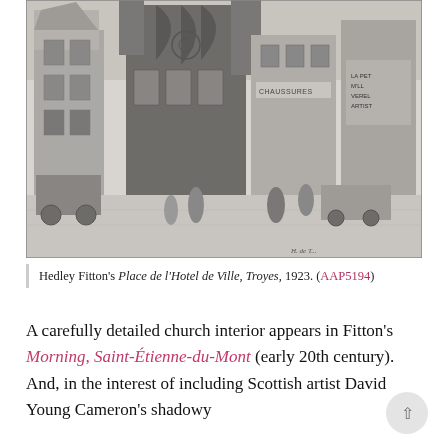[Figure (illustration): Black and white etching by Hedley Fitton showing Place de l'Hotel de Ville, Troyes, 1923. The detailed architectural etching depicts a Gothic church facade with surrounding buildings, street scene with horse-drawn carriages and pedestrians in the foreground. Signs on buildings include 'Chaussures' and other shop fronts.]
Hedley Fitton's Place de l'Hotel de Ville, Troyes, 1923. (AAP5194)
A carefully detailed church interior appears in Fitton's Morning, Saint-Étienne-du-Mont (early 20th century). And, in the interest of including Scottish artist David Young Cameron's shadowy